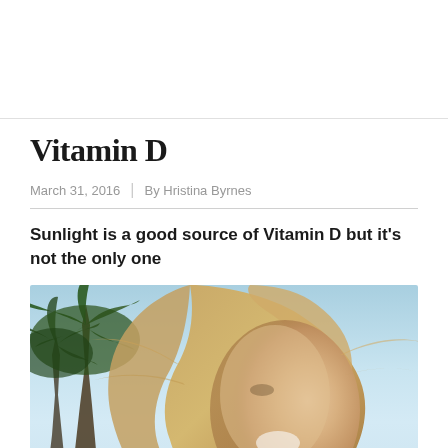Vitamin D
March 31, 2016  |  By Hristina Byrnes
Sunlight is a good source of Vitamin D but it's not the only one
[Figure (photo): Woman with long blond hair laughing outdoors with palm trees and blue sky in the background, sunlight scene illustrating Vitamin D from sunlight]